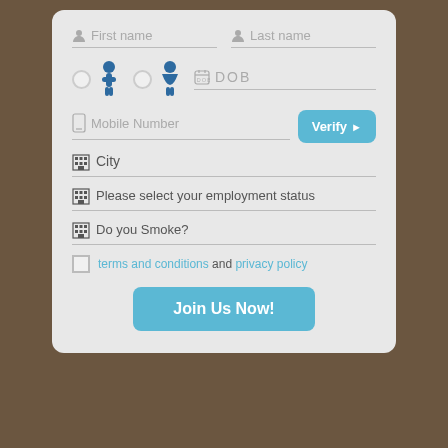[Figure (screenshot): Mobile app registration form with fields for First name, Last name, gender radio buttons (male/female icons), DOB, Mobile Number with Verify button, City, employment status, smoking status, terms and conditions checkbox, and Join Us Now button.]